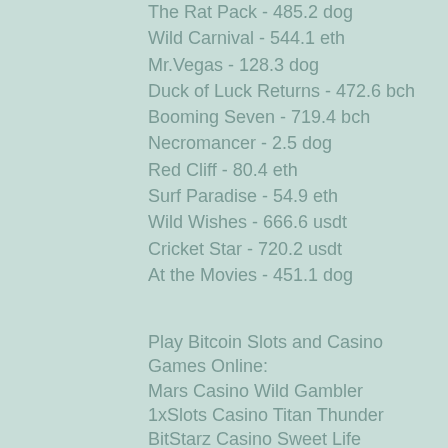The Rat Pack - 485.2 dog
Wild Carnival - 544.1 eth
Mr.Vegas - 128.3 dog
Duck of Luck Returns - 472.6 bch
Booming Seven - 719.4 bch
Necromancer - 2.5 dog
Red Cliff - 80.4 eth
Surf Paradise - 54.9 eth
Wild Wishes - 666.6 usdt
Cricket Star - 720.2 usdt
At the Movies - 451.1 dog
Play Bitcoin Slots and Casino Games Online:
Mars Casino Wild Gambler
1xSlots Casino Titan Thunder
BitStarz Casino Sweet Life
Vegas Crest Casino Sahara´s Dreams
CryptoGames Champs-Elysees
1xSlots Casino Babushkas